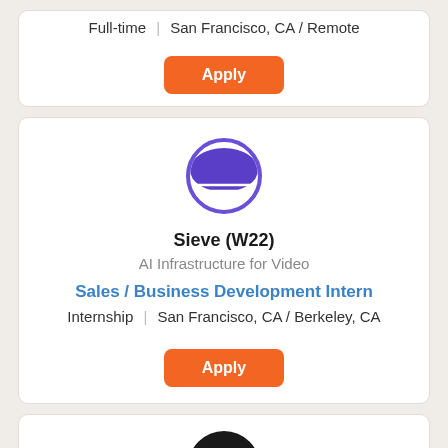Full-time | San Francisco, CA / Remote
Apply
[Figure (logo): Sieve company logo: a purple circle with a half-circle/horizon shape and horizontal lines inside]
Sieve (W22)
AI Infrastructure for Video
Sales / Business Development Intern
Internship | San Francisco, CA / Berkeley, CA
Apply
[Figure (logo): Black circle logo with a white letter V inside]